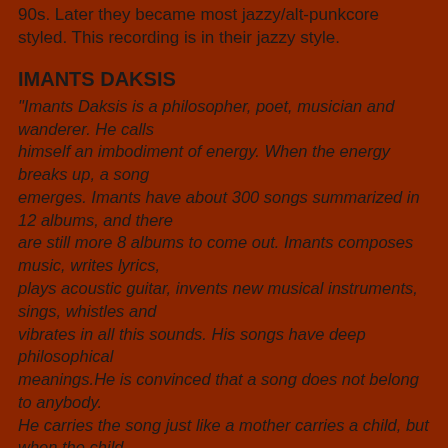90s. Later they became most jazzy/alt-punkcore styled. This recording is in their jazzy style.
IMANTS DAKSIS
"Imants Daksis is a philosopher, poet, musician and wanderer. He calls himself an imbodiment of energy. When the energy breaks up, a song emerges. Imants have about 300 songs summarized in 12 albums, and there are still more 8 albums to come out. Imants composes music, writes lyrics, plays acoustic guitar, invents new musical instruments, sings, whistles and vibrates in all this sounds. His songs have deep philosophical meanings.He is convinced that a song does not belong to anybody. He carries the song just like a mother carries a child, but when the child becomes independent, it has to be given the freedom to breathe. Imants has been asked where he gets melody from.